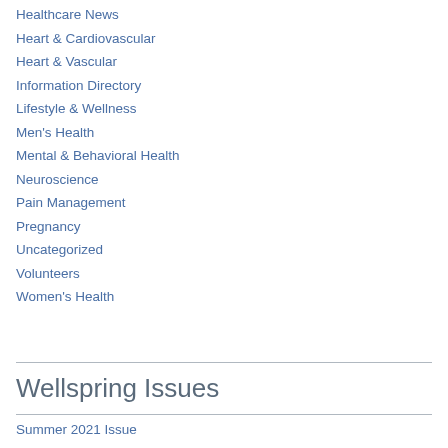Healthcare News
Heart & Cardiovascular
Heart & Vascular
Information Directory
Lifestyle & Wellness
Men's Health
Mental & Behavioral Health
Neuroscience
Pain Management
Pregnancy
Uncategorized
Volunteers
Women's Health
Wellspring Issues
Summer 2021 Issue
Summer 2020 Issue